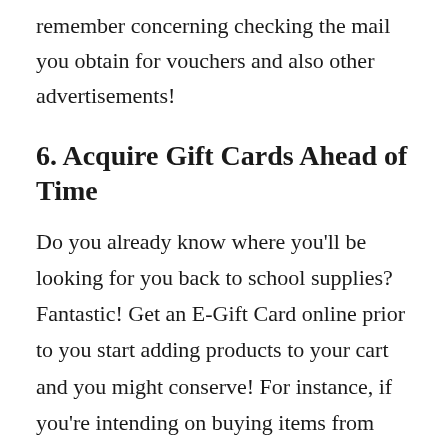remember concerning checking the mail you obtain for vouchers and also other advertisements!
6. Acquire Gift Cards Ahead of Time
Do you already know where you'll be looking for you back to school supplies? Fantastic! Get an E-Gift Card online prior to you start adding products to your cart and you might conserve! For instance, if you're intending on buying items from Target, you can initially most likely to an area like Raise.com as well as save cash by purchasing a gift card!